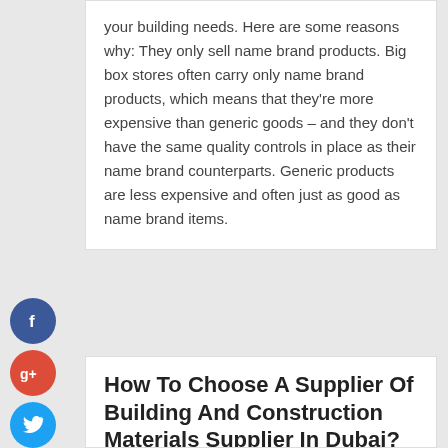your building needs. Here are some reasons why: They only sell name brand products. Big box stores often carry only name brand products, which means that they're more expensive than generic goods – and they don't have the same quality controls in place as their name brand counterparts. Generic products are less expensive and often just as good as name brand items.
[Figure (infographic): Social sharing buttons: Facebook (blue circle with f), Google+ (red circle with g+), Twitter (cyan circle with bird icon), and a dark blue plus/share button]
How To Choose A Supplier Of Building And Construction Materials Supplier In Dubai?